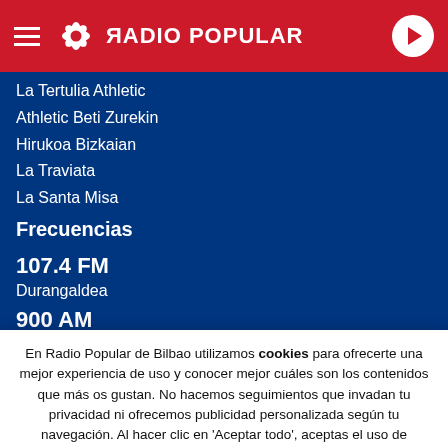RADIO POPULAR
La Tertulia Athletic
Athletic Beti Zurekin
Hirukoa Bizkaian
La Traviata
La Santa Misa
Frecuencias
107.4 FM
Durangaldea
900 AM
En Radio Popular de Bilbao utilizamos cookies para ofrecerte una mejor experiencia de uso y conocer mejor cuáles son los contenidos que más os gustan. No hacemos seguimientos que invadan tu privacidad ni ofrecemos publicidad personalizada según tu navegación. Al hacer clic en 'Aceptar todo', aceptas el uso de TODAS las cookies.
Rechazar y salir | Aceptar todas y continuar | Leer más